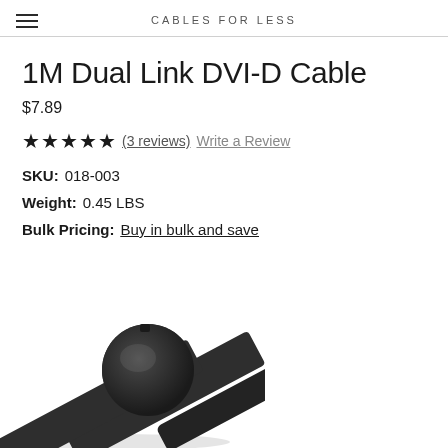CABLES FOR LESS
1M Dual Link DVI-D Cable
$7.89
★★★★★ (3 reviews)  Write a Review
SKU: 018-003
Weight: 0.45 LBS
Bulk Pricing: Buy in bulk and save
[Figure (photo): Close-up photo of a DVI-D cable connector end showing the round ferrite core and flat cable body against a white background]